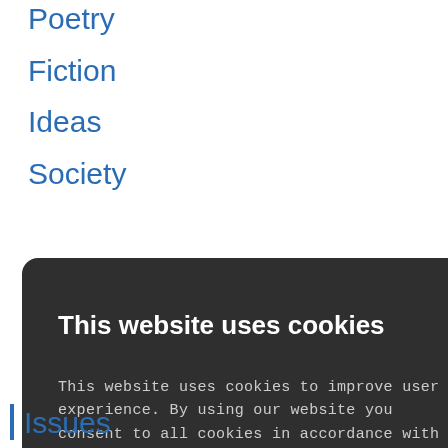Poetry
Fiction
Ideas
Society
[Figure (screenshot): Cookie consent modal dialog with dark background. Title: 'This website uses cookies'. Body text explains cookie policy. Checkbox for PERFORMANCE. Buttons: ACCEPT ALL (green), DECLINE ALL (outline). SHOW DETAILS link with gear icon. Footer: POWERED BY COOKIE-SCRIPT.]
Issues